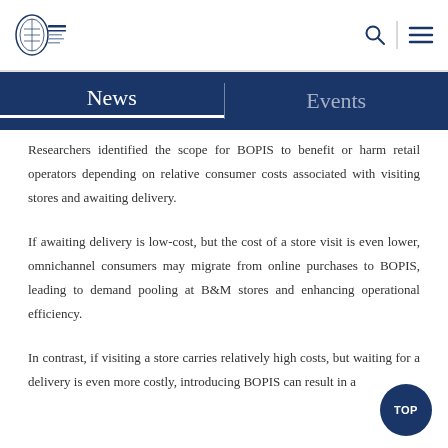Zhejiang University School of Management — site header with navigation icons
News | Events
Researchers identified the scope for BOPIS to benefit or harm retail operators depending on relative consumer costs associated with visiting stores and awaiting delivery.
If awaiting delivery is low-cost, but the cost of a store visit is even lower, omnichannel consumers may migrate from online purchases to BOPIS, leading to demand pooling at B&M stores and enhancing operational efficiency.
In contrast, if visiting a store carries relatively high costs, but waiting for a delivery is even more costly, introducing BOPIS can result in a